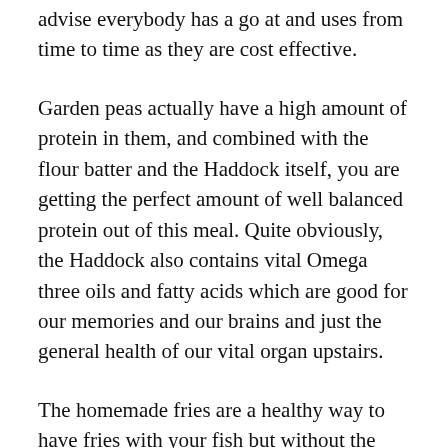advise everybody has a go at and uses from time to time as they are cost effective.
Garden peas actually have a high amount of protein in them, and combined with the flour batter and the Haddock itself, you are getting the perfect amount of well balanced protein out of this meal. Quite obviously, the Haddock also contains vital Omega three oils and fatty acids which are good for our memories and our brains and just the general health of our vital organ upstairs.
The homemade fries are a healthy way to have fries with your fish but without the excess fat or other additives that French fries or fries in a restaurant might possibly have. The potato fries give you a large proportion of Carbs from the dish as well.